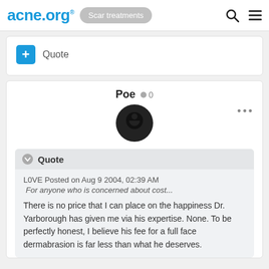acne.org® | Scar treatments
+ Quote
Poe ● 0
⋯
Quote
L0VE Posted on Aug 9 2004, 02:39 AM
  For anyone who is concerned about cost...

There is no price that I can place on the happiness Dr. Yarborough has given me via his expertise. None. To be perfectly honest, I believe his fee for a full face dermabrasion is far less than what he deserves.